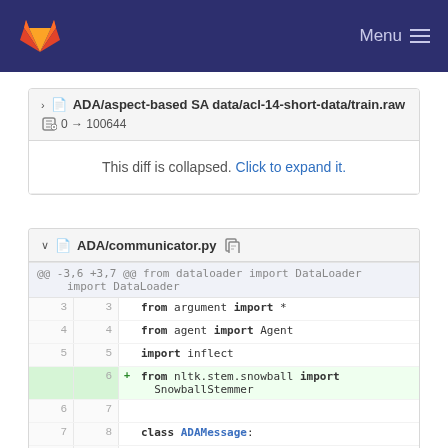GitLab — Menu
> ADA/aspect-based SA data/acl-14-short-data/train.raw  0 → 100644
This diff is collapsed. Click to expand it.
∨ ADA/communicator.py
@@ -3,6 +3,7 @@ from dataloader import DataLoader
3  3  from argument import *
4  4  from agent import Agent
5  5  import inflect
   6 + from nltk.stem.snowball import SnowballStemmer
6  7  
7  8  class ADAMessage:
8  9